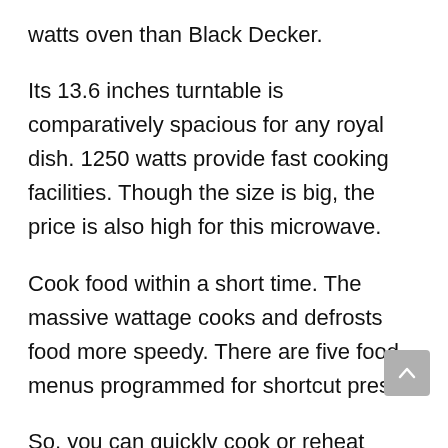watts oven than Black Decker.
Its 13.6 inches turntable is comparatively spacious for any royal dish. 1250 watts provide fast cooking facilities. Though the size is big, the price is also high for this microwave.
Cook food within a short time. The massive wattage cooks and defrosts food more speedy. There are five food menus programmed for shortcut press.
So, you can quickly cook or reheat pizza,